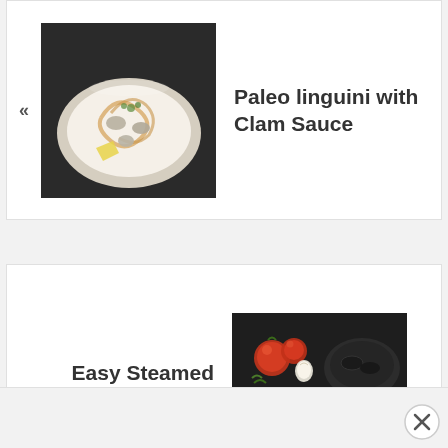[Figure (photo): Photo of Paleo linguini with clam sauce dish in a white bowl with lemon and herbs on a dark surface]
« Paleo linguini with Clam Sauce
[Figure (photo): Photo of Easy Steamed Mussels in Tomato Sauce in dark bowls with tomatoes and garlic on dark surface]
Easy Steamed Mussels in Tomato Sauce »